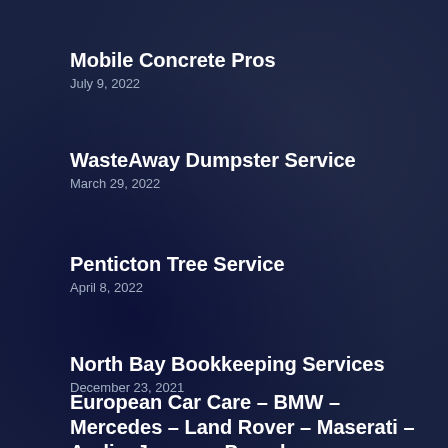Mobile Concrete Pros
July 9, 2022
WasteAway Dumpster Service
March 29, 2022
Penticton Tree Service
April 8, 2022
North Bay Bookkeeping Services
December 23, 2021
European Car Care – BMW – Mercedes – Land Rover – Maserati – Audi – Jaguar – Porsche – Bentley – Mini – VW...